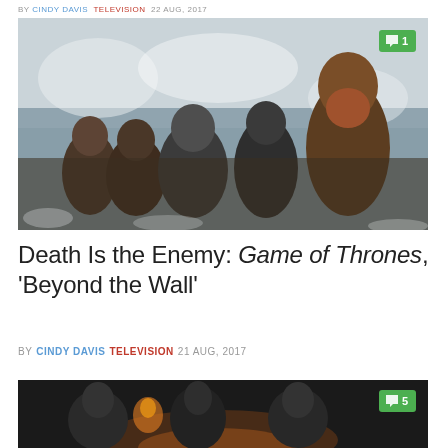BY CINDY DAVIS  TELEVISION  22 AUG, 2017
[Figure (photo): Group of men in heavy fur cloaks standing in a snowy landscape, scene from Game of Thrones 'Beyond the Wall' episode, with a green comment badge showing '1']
Death Is the Enemy: Game of Thrones, 'Beyond the Wall'
BY CINDY DAVIS  TELEVISION  21 AUG, 2017
[Figure (photo): Dark scene from Game of Thrones showing figures in low light, with a green comment badge showing '5']